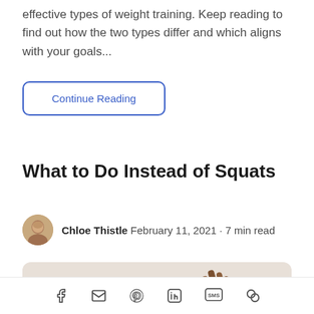effective types of weight training. Keep reading to find out how the two types differ and which aligns with your goals...
Continue Reading
What to Do Instead of Squats
Chloe Thistle February 11, 2021 · 7 min read
[Figure (photo): A person's hand raised up against a beige/cream background]
Social share icons: Facebook, Email, Pinterest, LinkedIn, SMS, Link